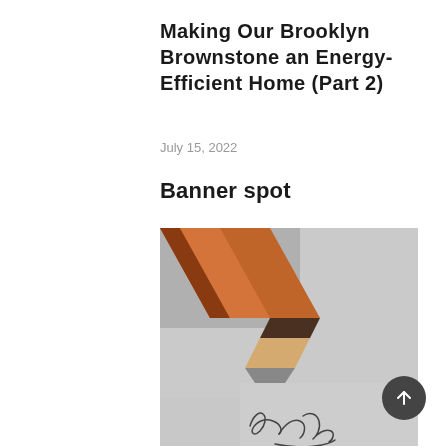Making Our Brooklyn Brownstone an Energy-Efficient Home (Part 2)
July 15, 2022
Banner spot
[Figure (photo): Close-up photo of a pencil tip writing a cursive signature on light gray paper]